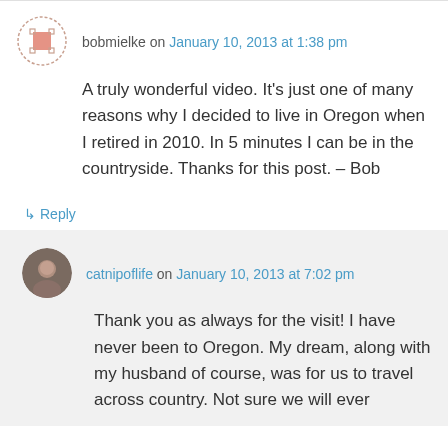bobmielke on January 10, 2013 at 1:38 pm
A truly wonderful video. It's just one of many reasons why I decided to live in Oregon when I retired in 2010. In 5 minutes I can be in the countryside. Thanks for this post. – Bob
↳ Reply
catnipoflife on January 10, 2013 at 7:02 pm
Thank you as always for the visit! I have never been to Oregon. My dream, along with my husband of course, was for us to travel across country. Not sure we will ever